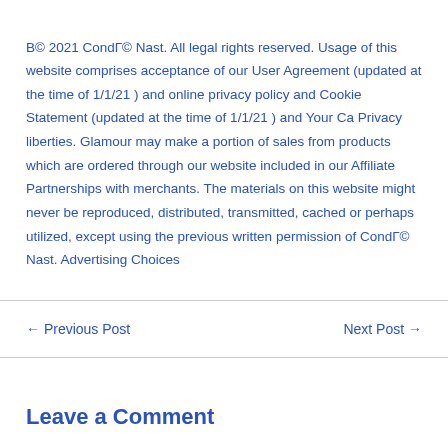B© 2021 CondГ© Nast. All legal rights reserved. Usage of this website comprises acceptance of our User Agreement (updated at the time of 1/1/21 ) and online privacy policy and Cookie Statement (updated at the time of 1/1/21 ) and Your Ca Privacy liberties. Glamour may make a portion of sales from products which are ordered through our website included in our Affiliate Partnerships with merchants. The materials on this website might never be reproduced, distributed, transmitted, cached or perhaps utilized, except using the previous written permission of CondГ© Nast. Advertising Choices
← Previous Post   Next Post →
Leave a Comment